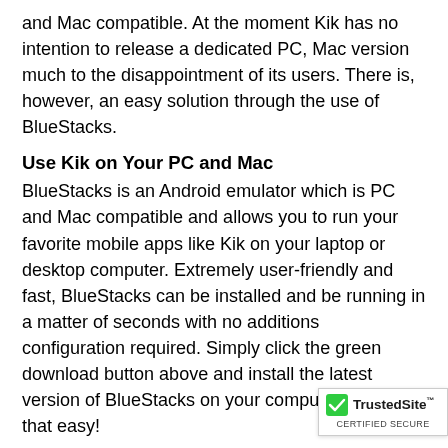and Mac compatible. At the moment Kik has no intention to release a dedicated PC, Mac version much to the disappointment of its users. There is, however, an easy solution through the use of BlueStacks.
Use Kik on Your PC and Mac
BlueStacks is an Android emulator which is PC and Mac compatible and allows you to run your favorite mobile apps like Kik on your laptop or desktop computer. Extremely user-friendly and fast, BlueStacks can be installed and be running in a matter of seconds with no additions configuration required. Simply click the green download button above and install the latest version of BlueStacks on your computer. It’s really that easy!
Install Kik on PC and Mac
To use Kik messenger on your computer, simply launch BlueStacks and click on the Kik messenger ico BlueStacks window. Kik messenger will open a